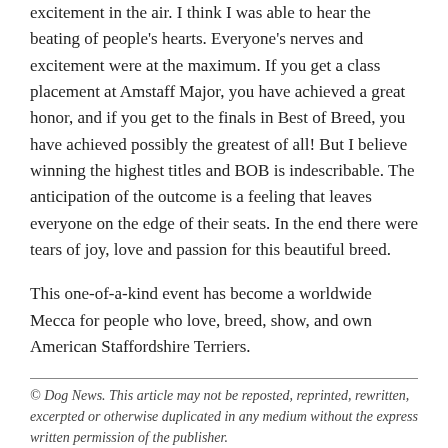excitement in the air. I think I was able to hear the beating of people's hearts. Everyone's nerves and excitement were at the maximum. If you get a class placement at Amstaff Major, you have achieved a great honor, and if you get to the finals in Best of Breed, you have achieved possibly the greatest of all! But I believe winning the highest titles and BOB is indescribable. The anticipation of the outcome is a feeling that leaves everyone on the edge of their seats. In the end there were tears of joy, love and passion for this beautiful breed.
This one-of-a-kind event has become a worldwide Mecca for people who love, breed, show, and own American Staffordshire Terriers.
© Dog News. This article may not be reposted, reprinted, rewritten, excerpted or otherwise duplicated in any medium without the express written permission of the publisher.